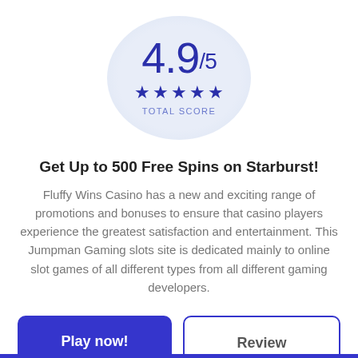[Figure (infographic): A circular score badge showing 4.9/5 with five blue stars and 'TOTAL SCORE' label underneath]
Get Up to 500 Free Spins on Starburst!
Fluffy Wins Casino has a new and exciting range of promotions and bonuses to ensure that casino players experience the greatest satisfaction and entertainment. This Jumpman Gaming slots site is dedicated mainly to online slot games of all different types from all different gaming developers.
Play now!
Review